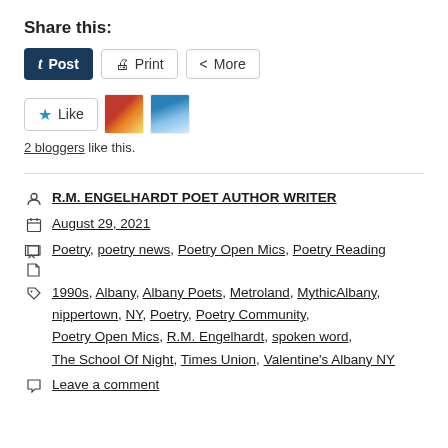Share this:
[Figure (screenshot): Social sharing buttons: Post (dark blue Tumblr button), Print button, More button]
[Figure (screenshot): Like button with star icon and two blogger avatars]
2 bloggers like this.
R.M. ENGELHARDT POET AUTHOR WRITER
August 29, 2021
Poetry, poetry news, Poetry Open Mics, Poetry Reading
1990s, Albany, Albany Poets, Metroland, MythicAlbany, nippertown, NY, Poetry, Poetry Community, Poetry Open Mics, R.M. Engelhardt, spoken word, The School Of Night, Times Union, Valentine's Albany NY
Leave a comment